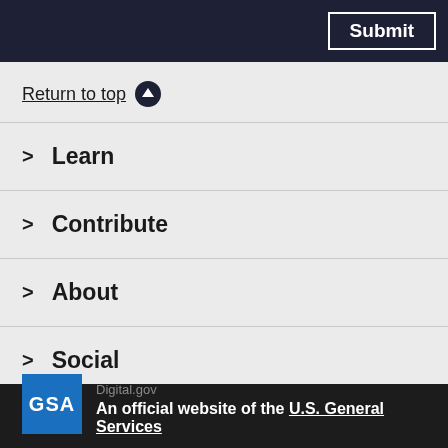Submit
Return to top ↑
> Learn
> Contribute
> About
> Social
[Figure (logo): GSA logo — blue square with white text 'GSA']
Digital.gov
An official website of the U.S. General Services